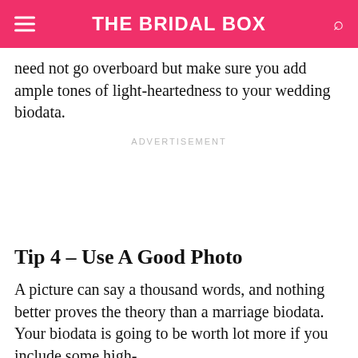THE BRIDAL BOX
need not go overboard but make sure you add ample tones of light-heartedness to your wedding biodata.
ADVERTISEMENT
Tip 4 – Use A Good Photo
A picture can say a thousand words, and nothing better proves the theory than a marriage biodata. Your biodata is going to be worth lot more if you include some high-quality photos of yourself. The right photos make you